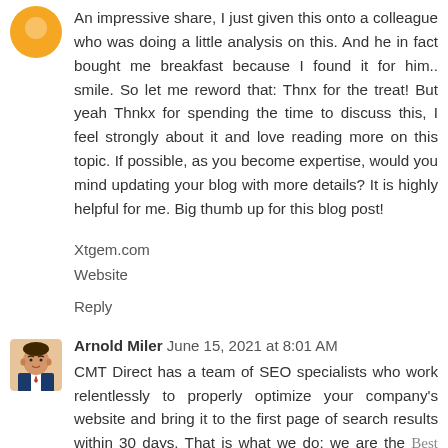An impressive share, I just given this onto a colleague who was doing a little analysis on this. And he in fact bought me breakfast because I found it for him.. smile. So let me reword that: Thnx for the treat! But yeah Thnkx for spending the time to discuss this, I feel strongly about it and love reading more on this topic. If possible, as you become expertise, would you mind updating your blog with more details? It is highly helpful for me. Big thumb up for this blog post!
Xtgem.com
Website
Reply
Arnold Miler  June 15, 2021 at 8:01 AM
CMT Direct has a team of SEO specialists who work relentlessly to properly optimize your company's website and bring it to the first page of search results within 30 days. That is what we do; we are the Best Digital Marketing Agency.